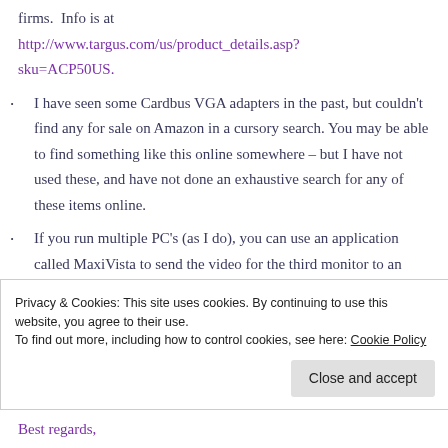firms.  Info is at
http://www.targus.com/us/product_details.asp?sku=ACP50US.
I have seen some Cardbus VGA adapters in the past, but couldn’t find any for sale on Amazon in a cursory search. You may be able to find something like this online somewhere – but I have not used these, and have not done an exhaustive search for any of these items online.
If you run multiple PC’s (as I do), you can use an application called MaxiVista to send the video for the third monitor to an
Privacy & Cookies: This site uses cookies. By continuing to use this website, you agree to their use.
To find out more, including how to control cookies, see here: Cookie Policy
Best regards,